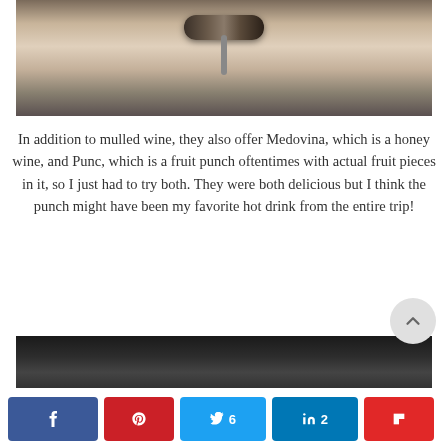[Figure (photo): Close-up photo of a baking roller or pastry tool in a metal tray with flour or dough coating]
In addition to mulled wine, they also offer Medovina, which is a honey wine, and Punc, which is a fruit punch oftentimes with actual fruit pieces in it, so I just had to try both. They were both delicious but I think the punch might have been my favorite hot drink from the entire trip!
[Figure (photo): Bottom portion of a dark/black and white photo, partially visible]
[Figure (other): Social share buttons bar with Facebook, Pinterest, Twitter (6 shares), LinkedIn (2 shares), and Flipboard icons]